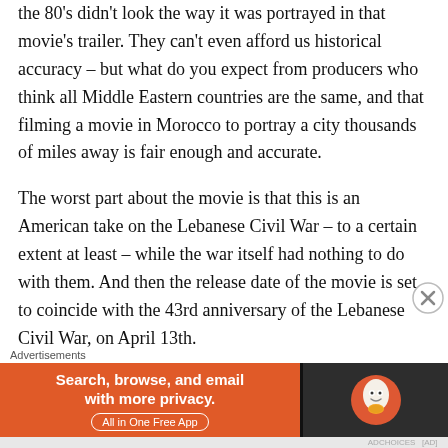the 80's didn't look the way it was portrayed in that movie's trailer. They can't even afford us historical accuracy – but what do you expect from producers who think all Middle Eastern countries are the same, and that filming a movie in Morocco to portray a city thousands of miles away is fair enough and accurate.
The worst part about the movie is that this is an American take on the Lebanese Civil War – to a certain extent at least – while the war itself had nothing to do with them. And then the release date of the movie is set to coincide with the 43rd anniversary of the Lebanese Civil War, on April 13th.
Dear Hollywood, I understand you have a growing need t…
[Figure (other): DuckDuckGo advertisement banner: orange left panel with text 'Search, browse, and email with more privacy. All in One Free App' and dark right panel with DuckDuckGo logo]